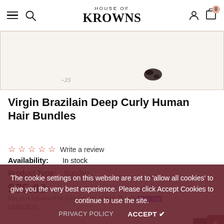HOUSE OF KROWNS — navigation with hamburger, search, account, and cart (0) icons
[Figure (photo): Partial product image showing hair bundle product, cropped at top, tan/cream background with border]
Virgin Brazilain Deep Curly Human Hair Bundles
☆ ☆ ☆ ☆ ☆ Write a review
Availability: In stock
Product Type: Bundles
$75.00
Pay in 4 interest-free installments of $18.75 with shop pay. Learn more
The cookie settings on this website are set to 'allow all cookies' to give you the very best experience. Please click Accept Cookies to continue to use the site.
PRIVACY POLICY   ACCEPT ✔